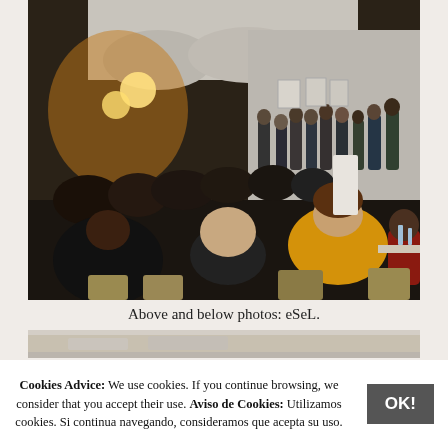[Figure (photo): A large group of people seated in a circle in a white art gallery/event space with warm lighting, listening to a discussion or presentation. Framed artworks visible on far wall.]
Above and below photos: eSeL.
[Figure (photo): Partial view of a second photo, cropped, showing the top edge of another event image.]
Cookies Advice: We use cookies. If you continue browsing, we consider that you accept their use. Aviso de Cookies: Utilizamos cookies. Si continua navegando, consideramos que acepta su uso.